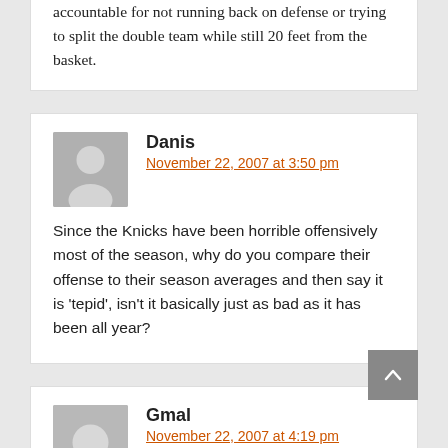accountable for not running back on defense or trying to split the double team while still 20 feet from the basket.
Danis
November 22, 2007 at 3:50 pm
Since the Knicks have been horrible offensively most of the season, why do you compare their offense to their season averages and then say it is 'tepid', isn't it basically just as bad as it has been all year?
Gmal
November 22, 2007 at 4:19 pm